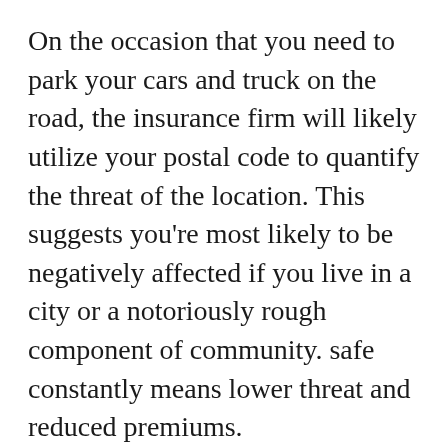On the occasion that you need to park your cars and truck on the road, the insurance firm will likely utilize your postal code to quantify the threat of the location. This suggests you're most likely to be negatively affected if you live in a city or a notoriously rough component of community. safe constantly means lower threat and reduced premiums.
Drive fewer miles An additional concern your insurance coverage service provider will certainly ask you when filling in your quote is the number of miles each year you drive generally. This will influence your